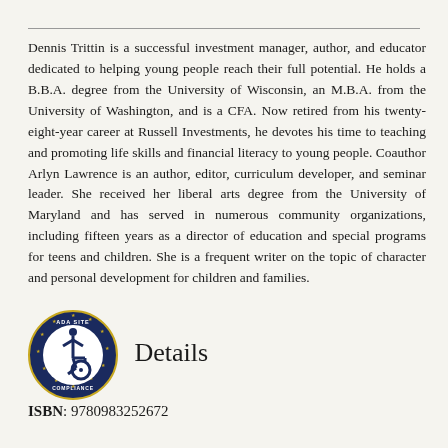Dennis Trittin is a successful investment manager, author, and educator dedicated to helping young people reach their full potential. He holds a B.B.A. degree from the University of Wisconsin, an M.B.A. from the University of Washington, and is a CFA. Now retired from his twenty-eight-year career at Russell Investments, he devotes his time to teaching and promoting life skills and financial literacy to young people. Coauthor Arlyn Lawrence is an author, editor, curriculum developer, and seminar leader. She received her liberal arts degree from the University of Maryland and has served in numerous community organizations, including fifteen years as a director of education and special programs for teens and children. She is a frequent writer on the topic of character and personal development for children and families.
[Figure (logo): ADA Site Compliance badge — circular dark blue badge with gold star border, wheelchair accessibility icon in center, text reading ADA SITE COMPLIANCE around the rim]
Book Details
ISBN: 9780983252672